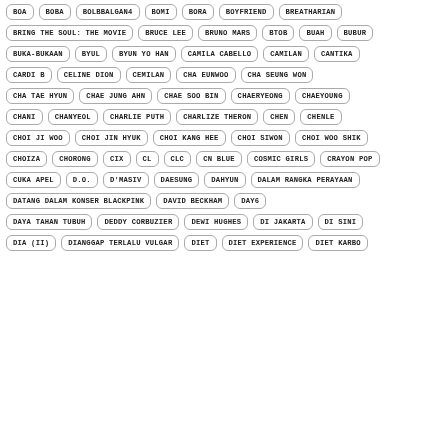BOA, BOBA, BOLBBALGAN4, BOMI, BORA, BOYFRIEND, BREATHARIAN
BRING THE SOUL: THE MOVIE, BRUCE LEE, BRUNO MARS, BTOB, BUAH, BUBUR
BUKA-BUKAAN, BYUL, BYUN YO HAN, CAMILA CABELLO, CAMILAN, CANTIKA
CARDI B, CELINE DION, CEMILAN, CHA EUNWOO, CHA SEUNG WON
CHA TAE HYUN, CHAE JUNG AHN, CHAE SOO BIN, CHAERYEONG, CHAEYOUNG
CHANI, CHANYEOL, CHARLIE PUTH, CHARLIZE THERON, CHEN, CHENLE
CHOI JI WOO, CHOI JIN HYUK, CHOI KANG HEE, CHOI SIWON, CHOI WOO SHIK
CHOIZA, CHORONG, CIX, CL, CLC, CN BLUE, COSMIC GIRLS, CRAYON POP
CUKA APEL, D.O., D'MASIV, DAESUNG, DAHYUN, DALAM RANGKA PERAYAAN
DATANG DALAM KONSER BLACKPINK, DAVID BECKHAM, DAY6
DAYA TAHAN TUBUH, DEDDY CORBUZIER, DEWI HUGHES, DI JAKARTA, DI SINI
DIA (II), DIANGGAP TERLALU VULGAR, DIET, DIET EXPERIENCE, DIET KARBO